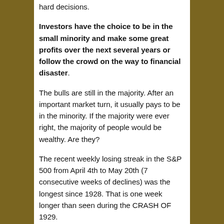hard decisions.
Investors have the choice to be in the small minority and make some great profits over the next several years or follow the crowd on the way to financial disaster.
The bulls are still in the majority. After an important market turn, it usually pays to be in the minority. If the majority were ever right, the majority of people would be wealthy. Are they?
The recent weekly losing streak in the S&P 500 from April 4th to May 20th (7 consecutive weeks of declines) was the longest since 1928. That is one week longer than seen during the CRASH OF 1929.
Such records are very meaningful and to me suggest that the final bottom will be much lower. In our award-winning Wellington Letter, now in its 46th year, we give our targets.
CONCLUSION: All our work suggests that we are